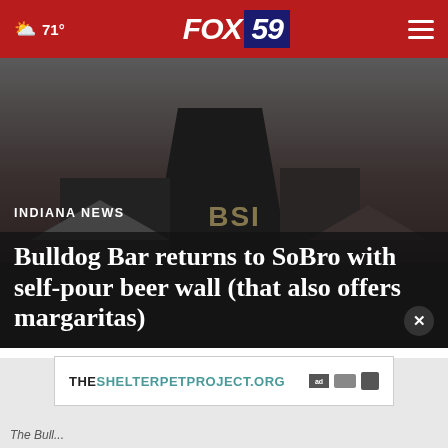☁ 71° | FOX 59
[Figure (photo): Exterior of a dark commercial building, likely the Bulldog Bar in SoBro neighborhood, showing rooflines and signage in low light]
INDIANA NEWS
Bulldog Bar returns to SoBro with self-pour beer wall (that also offers margaritas)
[Figure (other): Advertisement banner for THESHELTERPETPROJECT.ORG with ad verification icons]
The Bull...